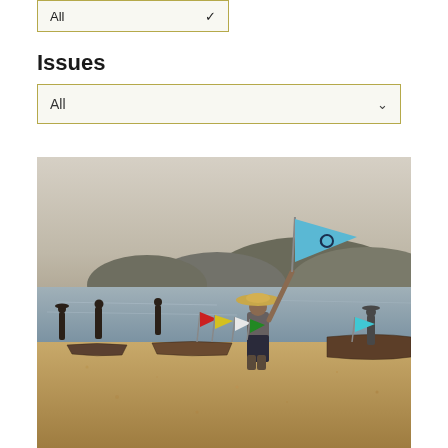[Figure (other): A dropdown UI element labeled 'All' with a downward chevron arrow, bordered in olive/gold color]
Issues
[Figure (other): A dropdown UI element labeled 'All' with a downward chevron arrow, bordered in olive/gold color]
[Figure (photo): Outdoor photograph of fishermen on a sandy shore near a lake or river. A man in a straw hat stands in the foreground holding a light blue flag with a fish logo. Several small wooden boats are visible along the shoreline. Other people and colorful flags are visible in the background. Hills and a hazy sky are in the distance.]